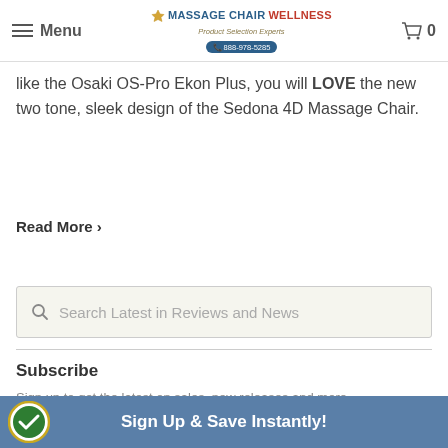Menu | MASSAGE CHAIR WELLNESS | Product Selection Experts | 888-978-5285 | Cart 0
like the Osaki OS-Pro Ekon Plus, you will LOVE the new two tone, sleek design of the Sedona 4D Massage Chair.
Read More ›
[Figure (other): Search bar with placeholder text 'Search Latest in Reviews and News']
Subscribe
Sign up to get the latest on sales, new releases and more …
[Figure (other): Email input field with placeholder 'Enter your email address...']
Sign Up & Save Instantly!